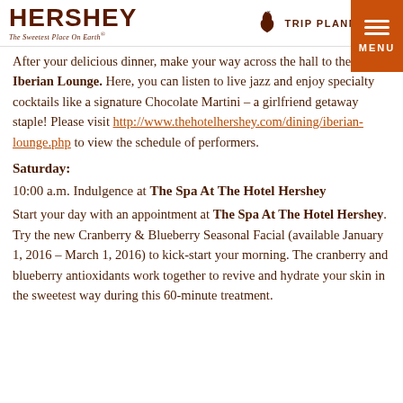HERSHEY The Sweetest Place On Earth® | TRIP PLANNER [0]
After your delicious dinner, make your way across the hall to the Iberian Lounge. Here, you can listen to live jazz and enjoy specialty cocktails like a signature Chocolate Martini – a girlfriend getaway staple! Please visit http://www.thehotelhershey.com/dining/iberian-lounge.php to view the schedule of performers.
Saturday:
10:00 a.m. Indulgence at The Spa At The Hotel Hershey
Start your day with an appointment at The Spa At The Hotel Hershey. Try the new Cranberry & Blueberry Seasonal Facial (available January 1, 2016 – March 1, 2016) to kick-start your morning. The cranberry and blueberry antioxidants work together to revive and hydrate your skin in the sweetest way during this 60-minute treatment.